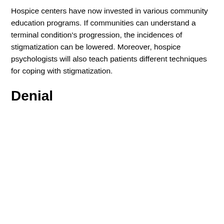Hospice centers have now invested in various community education programs. If communities can understand a terminal condition's progression, the incidences of stigmatization can be lowered. Moreover, hospice psychologists will also teach patients different techniques for coping with stigmatization.
Denial